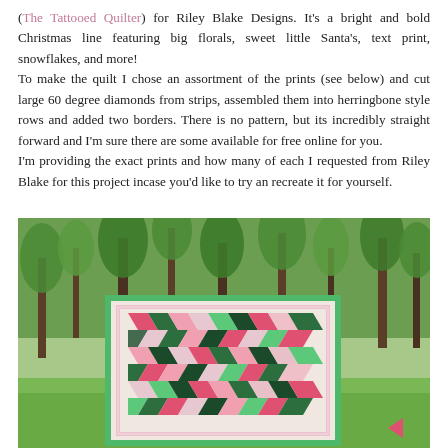(The Tattooed Quilter) for Riley Blake Designs. It's a bright and bold Christmas line featuring big florals, sweet little Santa's, text print, snowflakes, and more!
To make the quilt I chose an assortment of the prints (see below) and cut large 60 degree diamonds from strips, assembled them into herringbone style rows and added two borders. There is no pattern, but its incredibly straight forward and I'm sure there are some available for free online for you.
I'm providing the exact prints and how many of each I requested from Riley Blake for this project incase you'd like to try an recreate it for yourself.
[Figure (photo): Outdoor photo of a colorful Christmas herringbone quilt being held up in front of trees and greenery. The quilt features pink, green, black, red, and white diamond/herringbone pattern.]